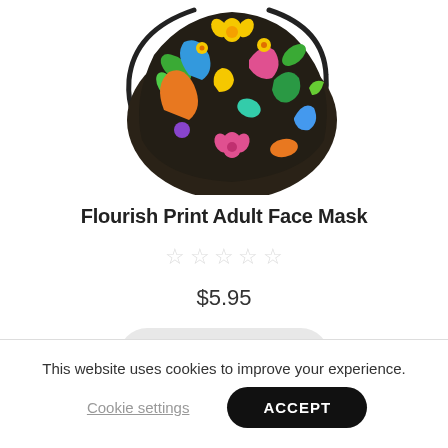[Figure (photo): A colorful paisley and floral print adult face mask on a white background, shown from front with ear loops.]
Flourish Print Adult Face Mask
☆☆☆☆☆
$5.95
Add to cart
This website uses cookies to improve your experience.
Cookie settings   ACCEPT